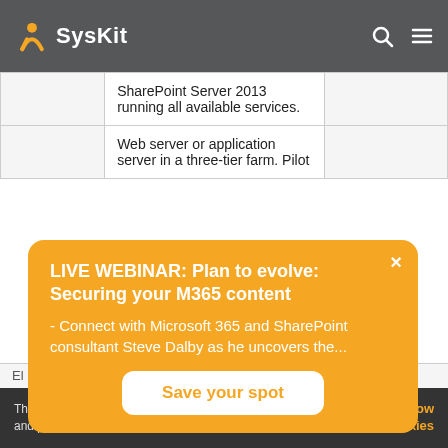SysKit
|  | SharePoint Server 2013 running all available services. |  |
|  | Web server or application server in a three-tier farm. Pilot |  |
LIVE WEBINAR: Plan to evolve: Securing your M365 content - Connect with Microsoft 365 and SharePoint consultant Steve Dalby as he uncovers the...
Save your spot
This website makes use of cookies to enhance browsing experience and provide additional functionality. Details  Allow cookies